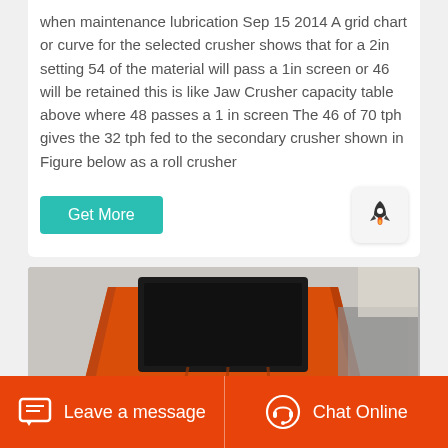when maintenance lubrication Sep 15 2014 A grid chart or curve for the selected crusher shows that for a 2in setting 54 of the material will pass a 1in screen or 46 will be retained this is like Jaw Crusher capacity table above where 48 passes a 1 in screen The 46 of 70 tph gives the 32 tph fed to the secondary crusher shown in Figure below as a roll crusher
[Figure (photo): Close-up photograph of an orange industrial jaw crusher or roll crusher machine, showing the feed opening (black rectangular mouth) at top and the heavy orange metalwork body with bolt studs, in an industrial setting]
Leave a message   Chat Online